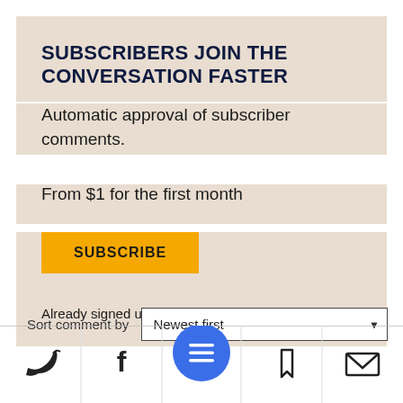SUBSCRIBERS JOIN THE CONVERSATION FASTER
Automatic approval of subscriber comments.
From $1 for the first month
SUBSCRIBE
Already signed up? LOG IN
Sort comment by  Newest first
[Figure (screenshot): Bottom navigation bar with Twitter bird icon, Facebook f icon, blue circle with hamburger menu icon, bookmark icon, and envelope/mail icon]